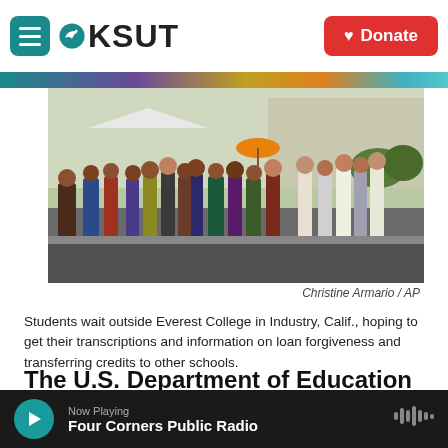KSUT | Donate
[Figure (photo): Students waiting in a line outside Everest College in Industry, California. Many people are standing in a parking lot in the sun, some with umbrellas.]
Christine Armario / AP
Students wait outside Everest College in Industry, Calif., hoping to get their transcriptions and information on loan forgiveness and transferring credits to other schools.
The U.S. Department of Education will forgive $5.8 billion of federal student loans for those who attended Corinthian Colleges, a chain of for-profit
Now Playing
Four Corners Public Radio